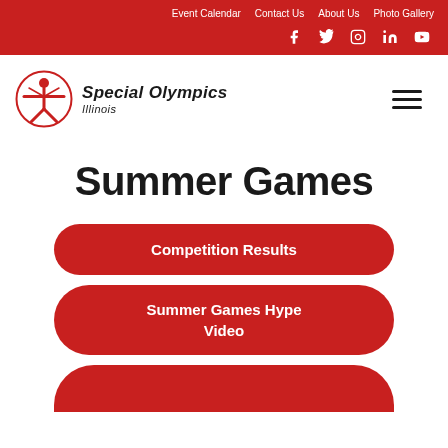Event Calendar  Contact Us  About Us  Photo Gallery
[Figure (logo): Special Olympics Illinois logo with red figure and text]
Summer Games
Competition Results
Summer Games Hype Video